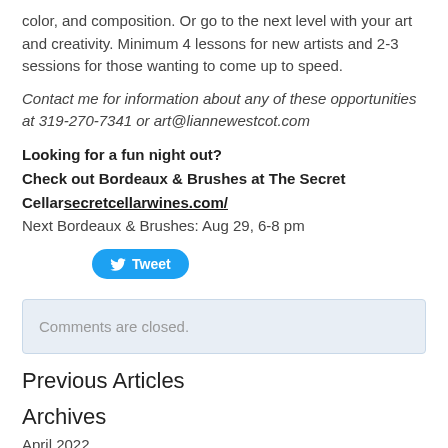color, and composition. Or go to the next level with your art and creativity. Minimum 4 lessons for new artists and 2-3 sessions for those wanting to come up to speed.
Contact me for information about any of these opportunities at 319-270-7341 or art@liannewestcot.com
Looking for a fun night out?
Check out Bordeaux & Brushes at The Secret Cellarsecretcellarwines.com/
Next Bordeaux & Brushes: Aug 29, 6-8 pm
[Figure (other): Twitter Tweet button]
Comments are closed.
Previous Articles
Archives
April 2022